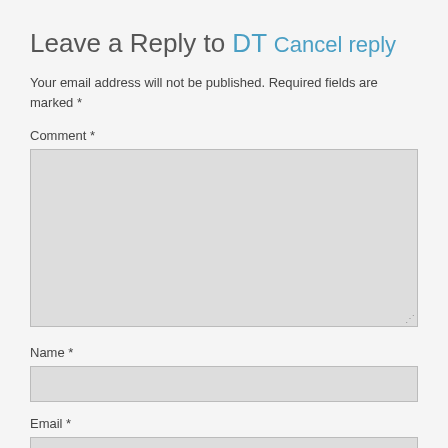Leave a Reply to DT Cancel reply
Your email address will not be published. Required fields are marked *
Comment *
[Figure (other): Large comment textarea input box with resize handle]
Name *
[Figure (other): Name text input field]
Email *
[Figure (other): Email text input field]